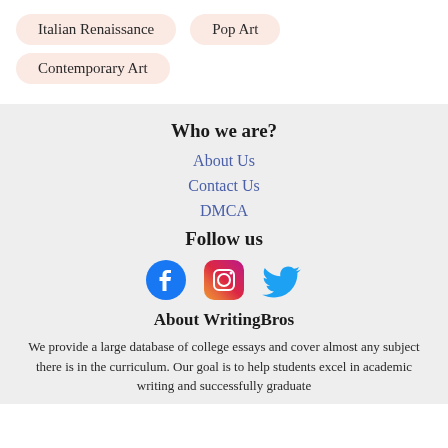Italian Renaissance
Pop Art
Contemporary Art
Who we are?
About Us
Contact Us
DMCA
Follow us
[Figure (infographic): Social media icons: Facebook, Instagram, Twitter]
About WritingBros
We provide a large database of college essays and cover almost any subject there is in the curriculum. Our goal is to help students excel in academic writing and successfully graduate